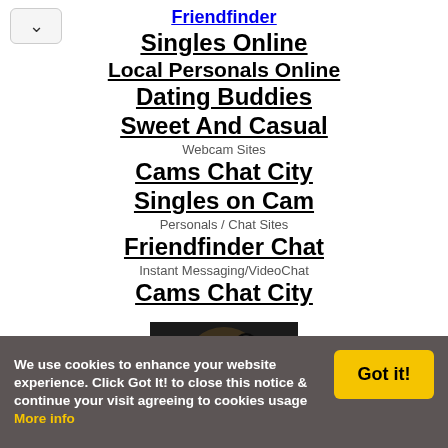Friendfinder
Singles Online
Local Personals Online
Dating Buddies
Sweet And Casual
Webcam Sites
Cams Chat City
Singles on Cam
Personals / Chat Sites
Friendfinder Chat
Instant Messaging/VideoChat
Cams Chat City
[Figure (photo): Silhouette of couple about to kiss backlit by sun, with text MARRIED PASSIONS at bottom]
Like Us? Link Us!
We use cookies to enhance your website experience. Click Got It! to close this notice & continue your visit agreeing to cookies usage More info